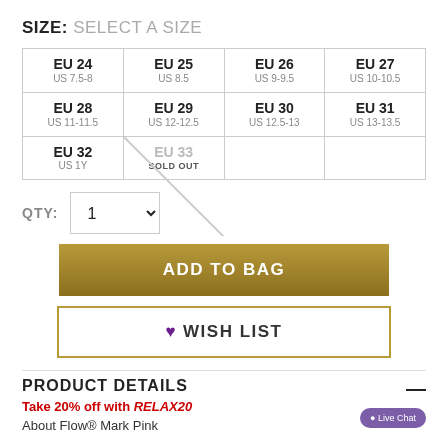SIZE: SELECT A SIZE
| EU 24
US 7.5-8 | EU 25
US 8.5 | EU 26
US 9-9.5 | EU 27
US 10-10.5 |
| EU 28
US 11-11.5 | EU 29
US 12-12.5 | EU 30
US 12.5-13 | EU 31
US 13-13.5 |
| EU 32
US 1Y | EU 33
SOLD OUT |  |  |
QTY: 1
ADD TO BAG
♥ WISH LIST
PRODUCT DETAILS
Take 20% off with RELAX20
About Flow® Mark Pink